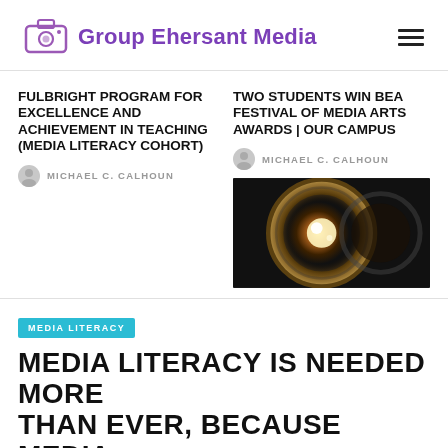Group Ehersant Media
FULBRIGHT PROGRAM FOR EXCELLENCE AND ACHIEVEMENT IN TEACHING (MEDIA LITERACY COHORT)
MICHAEL C. CALHOUN
TWO STUDENTS WIN BEA FESTIVAL OF MEDIA ARTS AWARDS | OUR CAMPUS
MICHAEL C. CALHOUN
[Figure (photo): Close-up photo of a camera lens with warm light reflections on dark background]
MEDIA LITERACY
MEDIA LITERACY IS NEEDED MORE THAN EVER, BECAUSE MEDIA...